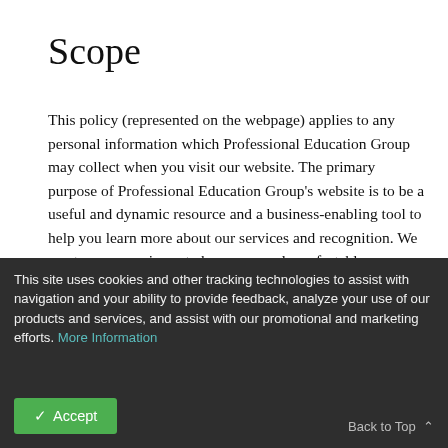Scope
This policy (represented on the webpage) applies to any personal information which Professional Education Group may collect when you visit our website. The primary purpose of Professional Education Group's website is to be a useful and dynamic resource and a business-enabling tool to help you learn more about our services and recognition. We want your experience to be secure and comfortable as we are committed to maintaining your privacy when doing so.
The privacy policy also covers how we handle any personal information that Professional Education Group through the website. This describes the cookies being used at the website and
This site uses cookies and other tracking technologies to assist with navigation and your ability to provide feedback, analyze your use of our products and services, and assist with our promotional and marketing efforts. More Information
Back to Top
Accept